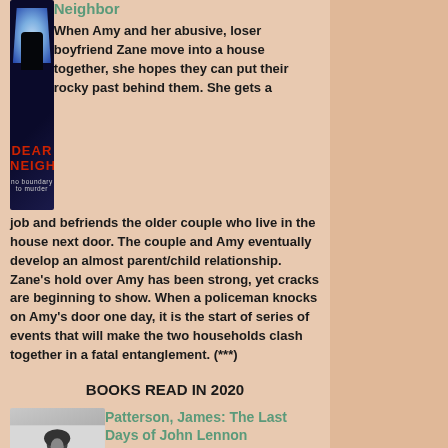[Figure (photo): Book cover of 'Dear Neighbour' by Tania Hallett — dark thriller cover with a silhouette in a doorway, red title text on dark background]
Neighbor
When Amy and her abusive, loser boyfriend Zane move into a house together, she hopes they can put their rocky past behind them. She gets a job and befriends the older couple who live in the house next door. The couple and Amy eventually develop an almost parent/child relationship. Zane's hold over Amy has been strong, yet cracks are beginning to show. When a policeman knocks on Amy's door one day, it is the start of series of events that will make the two households clash together in a fatal entanglement. (***)
BOOKS READ IN 2020
[Figure (photo): Book cover of 'The Last Days of John Lennon' by James Patterson — grayscale photo of a person in winter clothing]
Patterson, James: The Last Days of John Lennon